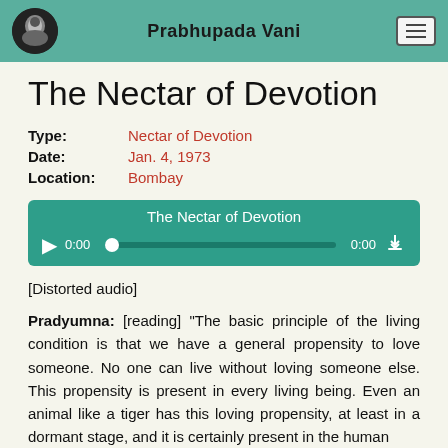Prabhupada Vani
The Nectar of Devotion
Type: Nectar of Devotion
Date: Jan. 4, 1973
Location: Bombay
[Figure (other): Audio player widget showing 'The Nectar of Devotion' with play button, progress bar at 0:00, and download button]
[Distorted audio]
Pradyumna: [reading] "The basic principle of the living condition is that we have a general propensity to love someone. No one can live without loving someone else. This propensity is present in every living being. Even an animal like a tiger has this loving propensity, at least in a dormant stage, and it is certainly present in the human